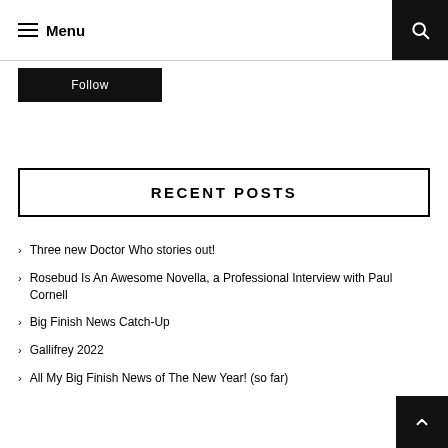≡ Menu
Follow
RECENT POSTS
Three new Doctor Who stories out!
Rosebud Is An Awesome Novella, a Professional Interview with Paul Cornell
Big Finish News Catch-Up
Gallifrey 2022
All My Big Finish News of The New Year! (so far)